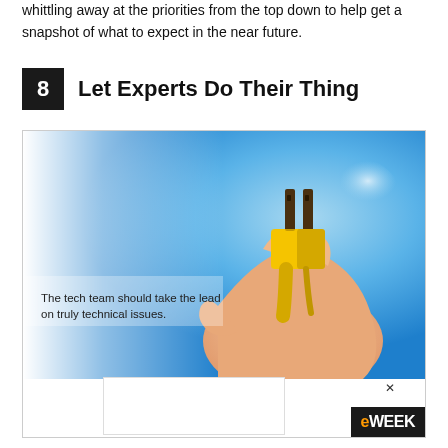whittling away at the priorities from the top down to help get a snapshot of what to expect in the near future.
8 Let Experts Do Their Thing
[Figure (photo): A hand holding a yellow electrical plug against a blue glowing background. Caption text reads: The tech team should take the lead on truly technical issues.]
The tech team should take the lead on truly technical issues.